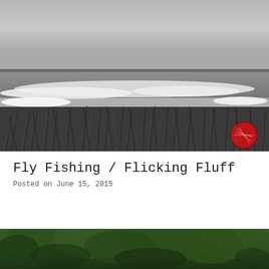[Figure (photo): Black and white photograph of ocean waves breaking, viewed from behind coastal dune grass in the foreground. A small red circular logo/watermark is visible in the bottom-right corner of the image.]
Fly Fishing / Flicking Fluff
Posted on June 15, 2015
[Figure (photo): Partially visible color photograph showing dense green forest/trees, cropped at the bottom of the page.]